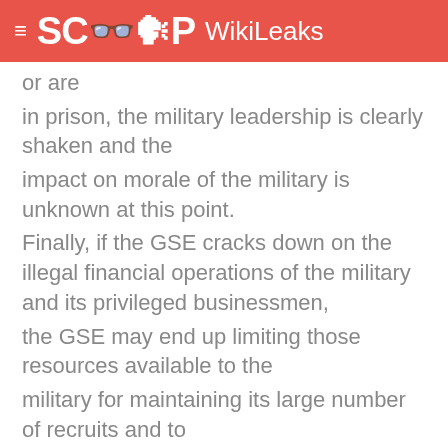SCOOP WikiLeaks
or are
in prison, the military leadership is clearly shaken and the
impact on morale of the military is unknown at this point.
Finally, if the GSE cracks down on the illegal financial operations of the military and its privileged businessmen,
the GSE may end up limiting those resources available to the
military for maintaining its large number of recruits and to
prepare for conflict. End Comment.
MCINTYRE